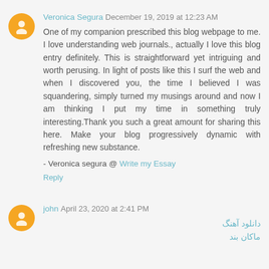Veronica Segura December 19, 2019 at 12:23 AM
One of my companion prescribed this blog webpage to me. I love understanding web journals., actually I love this blog entry definitely. This is straightforward yet intriguing and worth perusing. In light of posts like this I surf the web and when I discovered you, the time I believed I was squandering, simply turned my musings around and now I am thinking I put my time in something truly interesting.Thank you such a great amount for sharing this here. Make your blog progressively dynamic with refreshing new substance.
- Veronica segura @ Write my Essay
Reply
john April 23, 2020 at 2:41 PM
دانلود آهنگ
ماکان بند